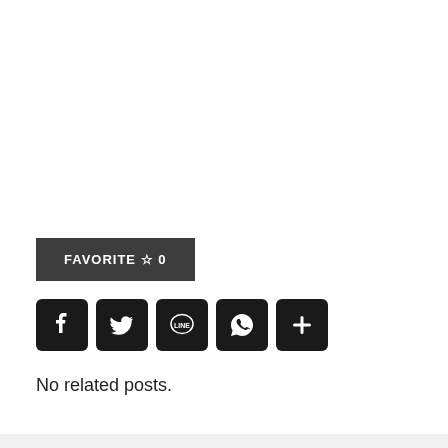[Figure (other): Favorite button with star icon and count 0, dark grey background, white text reading FAVORITE ☆ 0]
[Figure (other): Row of 5 social sharing icon buttons (Facebook, Twitter, LINE, WhatsApp, More/Plus) in black rounded squares]
No related posts.
Sunday, August 21, 2016   Diary, My artworks   Hong Kong, old hong kong, painting, watercolor, watercolour   Leave a comment
Proudly powered by WordPress